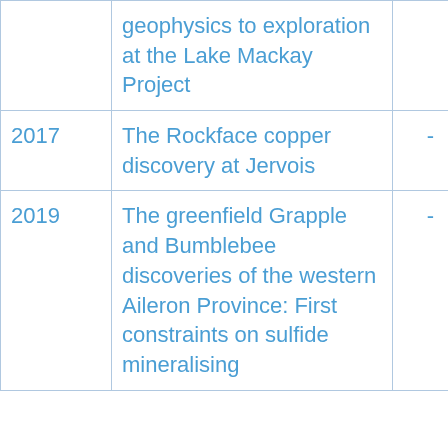| Year | Title | - | - |
| --- | --- | --- | --- |
|  | geophysics to exploration at the Lake Mackay Project | - | - |
| 2017 | The Rockface copper discovery at Jervois | - | - |
| 2019 | The greenfield Grapple and Bumblebee discoveries of the western Aileron Province: First constraints on sulfide mineralising | - | - |